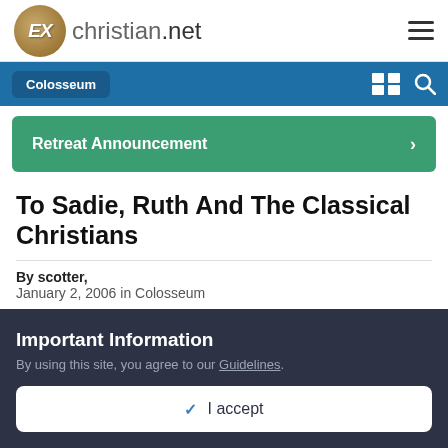ExChristian.net
Colosseum
Retreat Announcement
To Sadie, Ruth And The Classical Christians
By scotter, January 2, 2006 in Colosseum
Important Information
By using this site, you agree to our Guidelines.
I accept